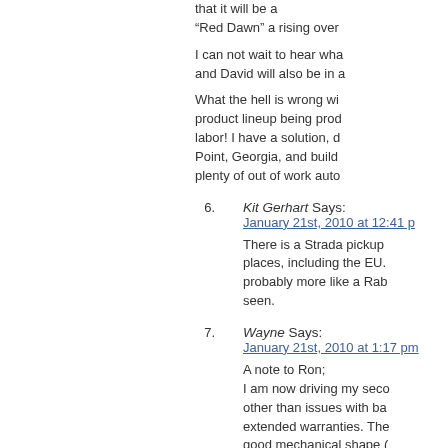that it will be a “Red Dawn” a rising over
I can not wait to hear wha and David will also be in a
What the hell is wrong wi product lineup being prod labor! I have a solution, d Point, Georgia, and build plenty of out of work auto
6. Kit Gerhart Says:
January 21st, 2010 at 12:41 p
There is a Strada pickup places, including the EU. probably more like a Rab seen.
7. Wayne Says:
January 21st, 2010 at 1:17 pm
A note to Ron;
I am now driving my seco other than issues with ba extended warranties. The good mechanical shape ( person who bought it from and keep it on the road. T and had the ball joint issu subjected to road salt and Toyota or Nissan pick-uns